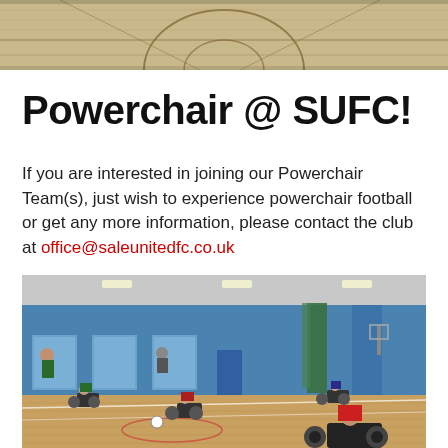[Figure (photo): Indoor sports hall/gymnasium with wooden floor and court markings, viewed from above, partial view at top of page.]
Powerchair @ SUFC!
If you are interested in joining our Powerchair Team(s), just wish to experience powerchair football or get any more information, please contact the club at office@saleunitedfc.co.uk
[Figure (photo): Indoor sports hall with blue walls. Several people in powerchairs playing powerchair football on a wooden court. A ball is visible on the floor. Spectators along the wall.]